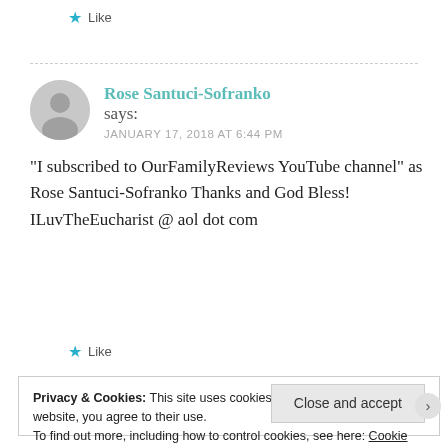★ Like
Rose Santuci-Sofranko says: JANUARY 17, 2018 AT 6:44 PM
“I subscribed to OurFamilyReviews YouTube channel” as Rose Santuci-Sofranko Thanks and God Bless! ILuvTheEucharist @ aol dot com
★ Like
Privacy & Cookies: This site uses cookies. By continuing to use this website, you agree to their use.
To find out more, including how to control cookies, see here: Cookie Policy
Close and accept